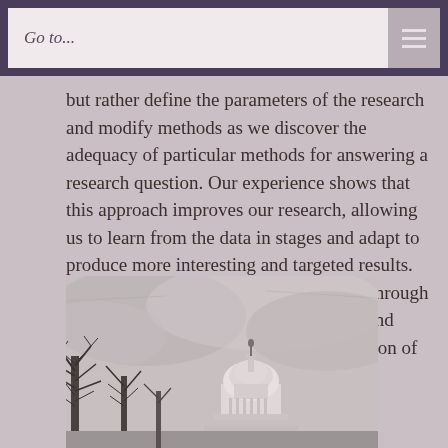Go to...
but rather define the parameters of the research and modify methods as we discover the adequacy of particular methods for answering a research question. Our experience shows that this approach improves our research, allowing us to learn from the data in stages and adapt to produce more interesting and targeted results. We are also able to interact with clients through the research to produce interim results, and include client feedback in the interpretation of findings.
[Figure (photo): Black and white photograph of the US Capitol building dome partially visible behind bare winter trees against a cloudy sky]